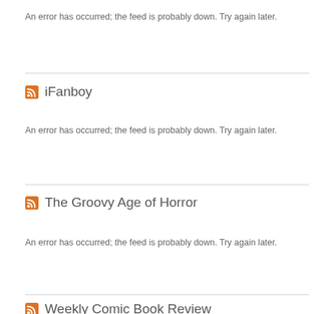An error has occurred; the feed is probably down. Try again later.
iFanboy
An error has occurred; the feed is probably down. Try again later.
The Groovy Age of Horror
An error has occurred; the feed is probably down. Try again later.
Weekly Comic Book Review
An error has occurred; the feed is probably down. Try again later.
The Hero Blog